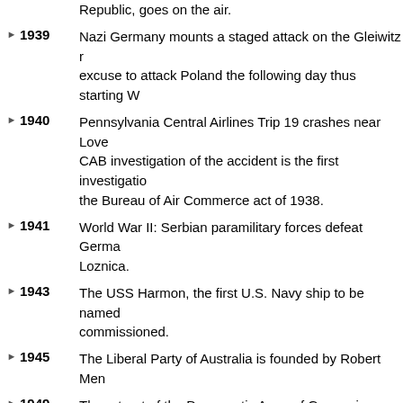Republic, goes on the air.
1939 Nazi Germany mounts a staged attack on the Gleiwitz radio station, giving them an excuse to attack Poland the following day thus starting World War II.
1940 Pennsylvania Central Airlines Trip 19 crashes near Lovettsville, Virginia. The CAB investigation of the accident is the first investigation conducted under the Bureau of Air Commerce act of 1938.
1941 World War II: Serbian paramilitary forces defeat German troops in the Battle of Loznica.
1943 The USS Harmon, the first U.S. Navy ship to be named after an African American, is commissioned.
1945 The Liberal Party of Australia is founded by Robert Menzies.
1949 The retreat of the Democratic Army of Greece in Albania after their defeat on Gramos mountain marks the end of the Greek Civil War.
1957 The Federation of Malaya (now Malaysia) gains its independence from the United Kingdom.